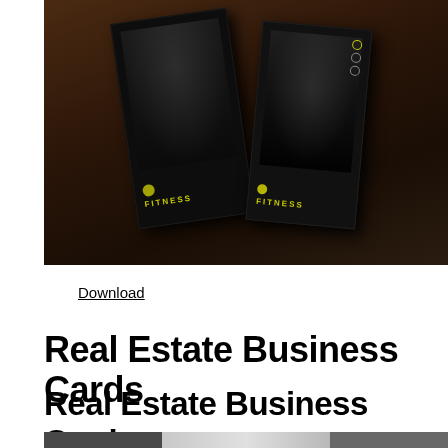[Figure (photo): Photo of two dark fitness business cards with yellow accent text, displayed on a brown/dark background at an angle]
Download
Real Estate Business Cards
Real Estate Business Card Template
[Figure (photo): Partial photo of real estate business cards displayed on a gray background, showing white card on gray surface]